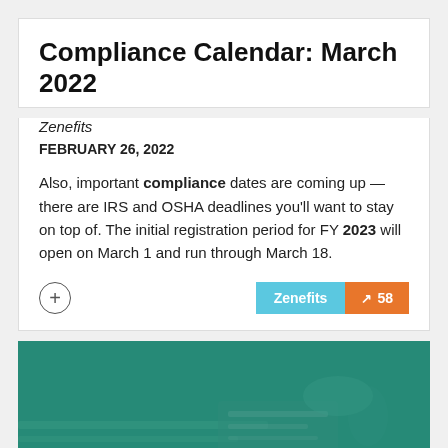Compliance Calendar: March 2022
Zenefits
FEBRUARY 26, 2022
Also, important compliance dates are coming up — there are IRS and OSHA deadlines you'll want to stay on top of. The initial registration period for FY 2023 will open on March 1 and run through March 18.
[Figure (photo): Office administration background image with teal/green overlay showing hands working at a desk with documents and a calculator. Large white bold text 'FFICE ADMINISTRATIO' partially visible at bottom.]